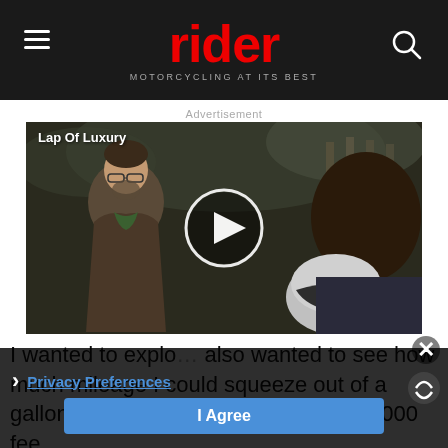rider — MOTORCYCLING AT ITS BEST
Advertisement
[Figure (screenshot): Video thumbnail showing two men talking outdoors, one holding a motorcycle helmet, with a play button overlay. Title 'Lap Of Luxury' shown in top-left of video.]
I wanted to explo… also wanted to see how much mileage I could squeeze out of a gallon. The conditions were perfect: 8,000 fee…